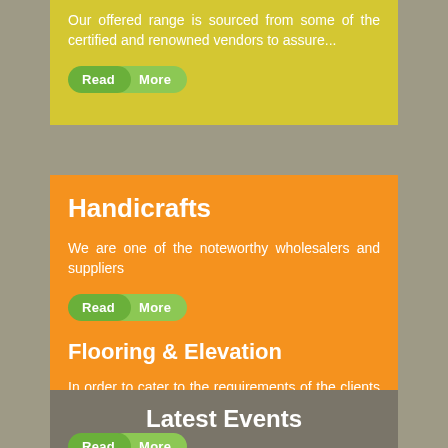Our offered range is sourced from some of the certified and renowned vendors to assure...
Read More
Handicrafts
We are one of the noteworthy wholesalers and suppliers
Read More
Flooring & Elevation
In order to cater to the requirements of the clients we are engaged offering...
Read More
Latest Events